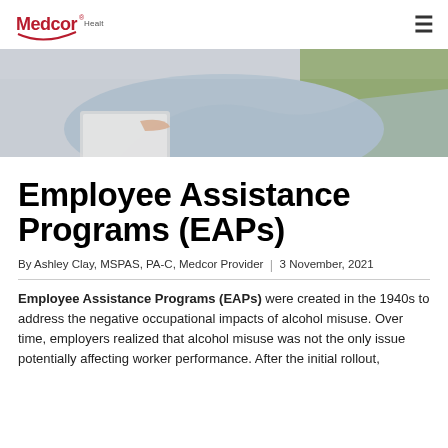Medcor Health Navigation
[Figure (photo): Person in a light blue jacket working on a laptop, photographed from above/behind, with a green background visible]
Employee Assistance Programs (EAPs)
By Ashley Clay, MSPAS, PA-C, Medcor Provider  |  3 November, 2021
Employee Assistance Programs (EAPs) were created in the 1940s to address the negative occupational impacts of alcohol misuse. Over time, employers realized that alcohol misuse was not the only issue potentially affecting worker performance. After the initial rollout,